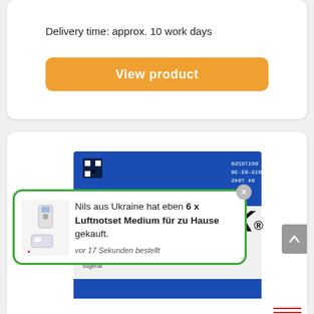Delivery time: approx. 10 work days
View product
[Figure (photo): Accu-Chek product box, white and blue packaging, with barcode number 07453701]
Nils aus Ukraine hat eben 6 x Luftnotset Medium für zu Hause gekauft.
vor 17 Sekunden bestellt